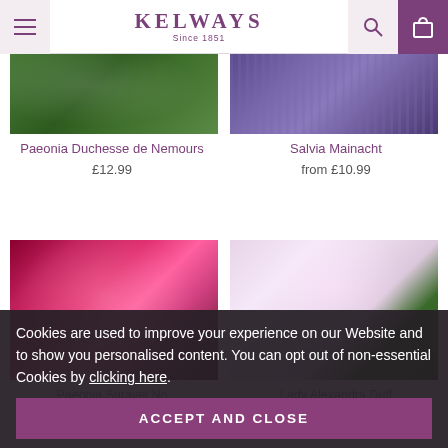Kelways Since 1851
[Figure (photo): Paeonia Duchesse de Nemours flower photo - green foliage background]
Paeonia Duchesse de Nemours
£12.99
[Figure (photo): Salvia Mainacht flower photo - purple lavender flowers]
Salvia Mainacht
from £10.99
[Figure (photo): Paeonia Suravel No photo - vibrant pink/magenta flower]
Paeonia Suravel No
£12.99
[Figure (photo): Lady Alexandra Duff flower photo - pale pink peony flower]
Lady Alexandra Duff
Cookies are used to improve your experience on our Website and to show you personalised content. You can opt out of non-essential Cookies by clicking here.
ACCEPT AND CLOSE